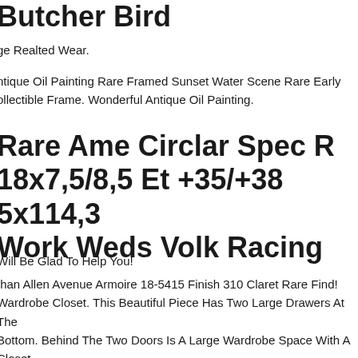Butcher Bird
ge Realted Wear.
ntique Oil Painting Rare Framed Sunset Water Scene Rare Early
ollectible Frame. Wonderful Antique Oil Painting.
Rare Ame Circlar Spec R
18x7,5/8,5 Et +35/+38 5x114,3
Work Weds Volk Racing
Will Be Glad To Help You!
than Allen Avenue Armoire 18-5415 Finish 310 Claret Rare Find!
Wardrobe Closet. This Beautiful Piece Has Two Large Drawers At The
Bottom. Behind The Two Doors Is A Large Wardrobe Space With A Closet
od And Four Smaller Drawers. This Is A Pre-owned Item And Does Show
igns Of Wear.